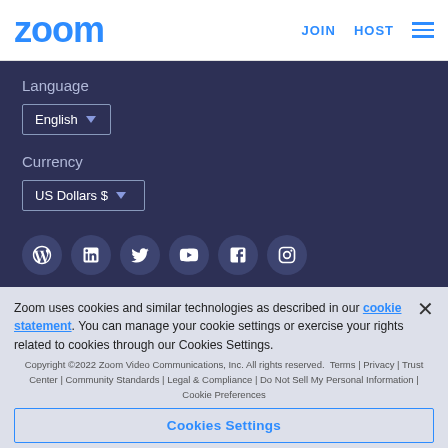zoom   JOIN   HOST
Language
English ▾
Currency
US Dollars $ ▾
[Figure (illustration): Social media icons row: WordPress, LinkedIn, Twitter, YouTube, Facebook, Instagram]
Zoom uses cookies and similar technologies as described in our cookie statement. You can manage your cookie settings or exercise your rights related to cookies through our Cookies Settings.
Copyright ©2022 Zoom Video Communications, Inc. All rights reserved.  Terms | Privacy | Trust Center | Community Standards | Legal & Compliance | Do Not Sell My Personal Information | Cookie Preferences
Cookies Settings